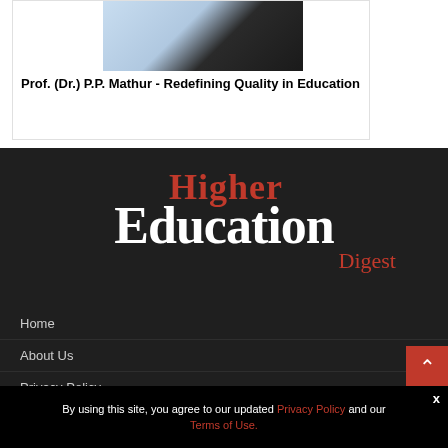[Figure (photo): Photo of Prof. (Dr.) P.P. Mathur in a suit with blue tie, cropped at top]
Prof. (Dr.) P.P. Mathur - Redefining Quality in Education
[Figure (logo): Higher Education Digest logo - Higher in red, Education in white bold, Digest in red on dark background]
Home
About Us
Privacy Policy
By using this site, you agree to our updated Privacy Policy and our Terms of Use.